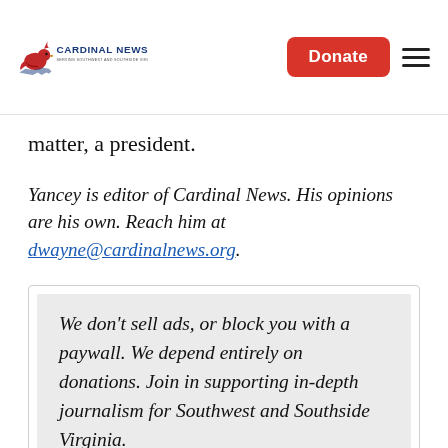Cardinal News | Donate
matter, a president.
Yancey is editor of Cardinal News. His opinions are his own. Reach him at dwayne@cardinalnews.org.
We don’t sell ads, or block you with a paywall. We depend entirely on donations. Join in supporting in-depth journalism for Southwest and Southside Virginia.